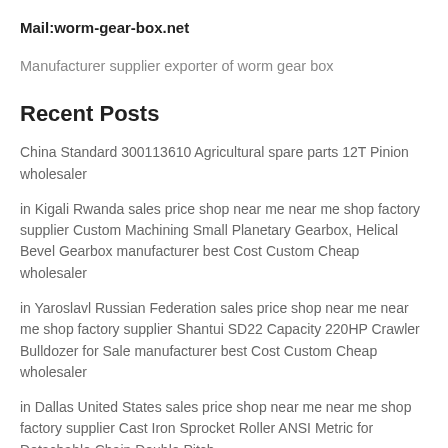Mail:worm-gear-box.net
Manufacturer supplier exporter of worm gear box
Recent Posts
China Standard 300113610 Agricultural spare parts 12T Pinion wholesaler
in Kigali Rwanda sales price shop near me near me shop factory supplier Custom Machining Small Planetary Gearbox, Helical Bevel Gearbox manufacturer best Cost Custom Cheap wholesaler
in Yaroslavl Russian Federation sales price shop near me near me shop factory supplier Shantui SD22 Capacity 220HP Crawler Bulldozer for Sale manufacturer best Cost Custom Cheap wholesaler
in Dallas United States sales price shop near me near me shop factory supplier Cast Iron Sprocket Roller ANSI Metric for Detachable Chain Double Pitch